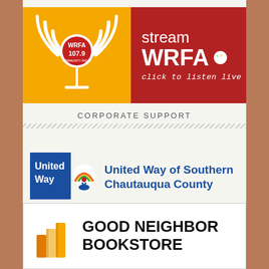[Figure (logo): WRFA 107.9 radio station banner. Left half is orange with WRFA logo and radio tower graphic. Right half is dark red with text 'stream WRFA LP click to listen live'.]
CORPORATE SUPPORT
[Figure (logo): United Way logo with rainbow and figure icon in blue and orange square]
United Way of Southern Chautauqua County
[Figure (logo): Good Neighbor Bookstore logo with stacked books icon in yellow and orange]
GOOD NEIGHBOR BOOKSTORE